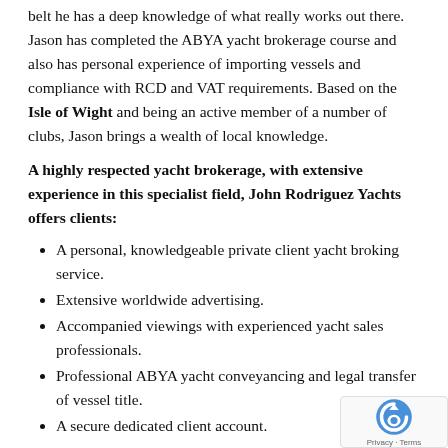belt he has a deep knowledge of what really works out there. Jason has completed the ABYA yacht brokerage course and also has personal experience of importing vessels and compliance with RCD and VAT requirements. Based on the Isle of Wight and being an active member of a number of clubs, Jason brings a wealth of local knowledge.
A highly respected yacht brokerage, with extensive experience in this specialist field, John Rodriguez Yachts offers clients:
A personal, knowledgeable private client yacht broking service.
Extensive worldwide advertising.
Accompanied viewings with experienced yacht sales professionals.
Professional ABYA yacht conveyancing and legal transfer of vessel title.
A secure dedicated client account.